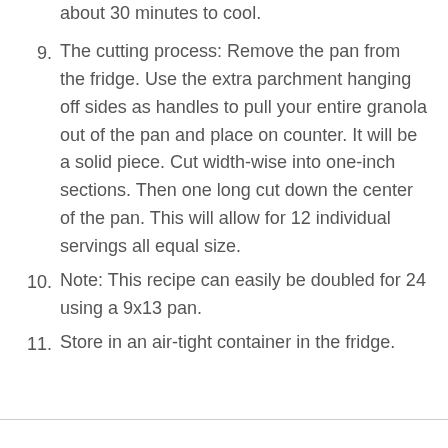about 30 minutes to cool.
9. The cutting process: Remove the pan from the fridge. Use the extra parchment hanging off sides as handles to pull your entire granola out of the pan and place on counter. It will be a solid piece. Cut width-wise into one-inch sections. Then one long cut down the center of the pan. This will allow for 12 individual servings all equal size.
10. Note: This recipe can easily be doubled for 24 using a 9x13 pan.
11. Store in an air-tight container in the fridge.